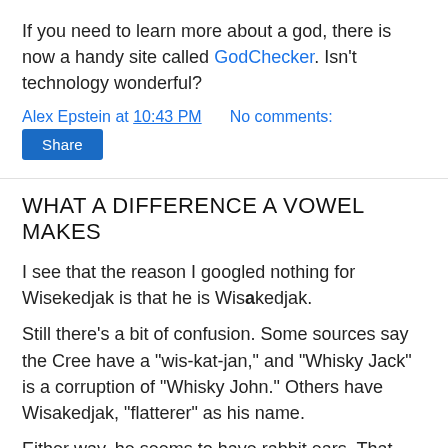If you need to learn more about a god, there is now a handy site called GodChecker. Isn't technology wonderful?
Alex Epstein at 10:43 PM   No comments:
Share
WHAT A DIFFERENCE A VOWEL MAKES
I see that the reason I googled nothing for Wisekedjak is that he is Wisakedjak.
Still there's a bit of confusion. Some sources say the Cree have a "wis-kat-jan," and "Whisky Jack" is a corruption of "Whisky John." Others have Wisakedjak, "flatterer" as his name.
Either way, he seems to have rabbit ears. That makes him a bit of a pooka, doesn't it?